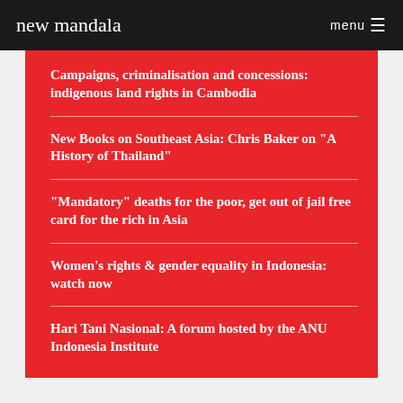new mandala  menu
Campaigns, criminalisation and concessions: indigenous land rights in Cambodia
New Books on Southeast Asia: Chris Baker on "A History of Thailand"
"Mandatory" deaths for the poor, get out of jail free card for the rich in Asia
Women's rights & gender equality in Indonesia: watch now
Hari Tani Nasional: A forum hosted by the ANU Indonesia Institute